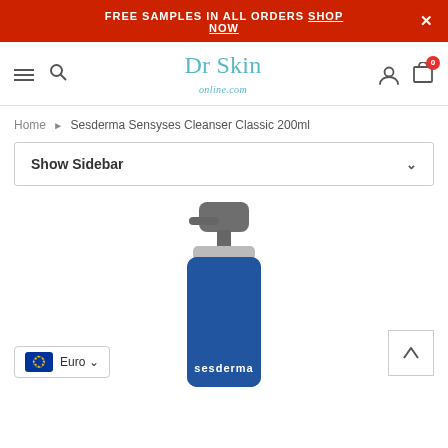FREE SAMPLES IN ALL ORDERS SHOP NOW
[Figure (logo): Dr Skin online.com logo with teal/blue text]
Home > Sesderma Sensyses Cleanser Classic 200ml
Show Sidebar
[Figure (photo): Sesderma Sensyses Cleanser Classic 200ml product bottle, dark pump top, blue label with sesderma branding]